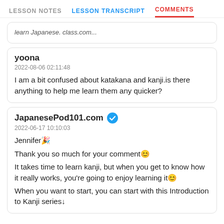LESSON NOTES  LESSON TRANSCRIPT  COMMENTS
learn Japanese. class.com...
yoona
2022-08-06 02:11:48
I am a bit confused about katakana and kanji.is there anything to help me learn them any quicker?
JapanesePod101.com
2022-06-17 10:10:03
Jennifer🎉

Thank you so much for your comment😊
It takes time to learn kanji, but when you get to know how it really works, you're going to enjoy learning it😊
When you want to start, you can start with this Introduction to Kanji series↓